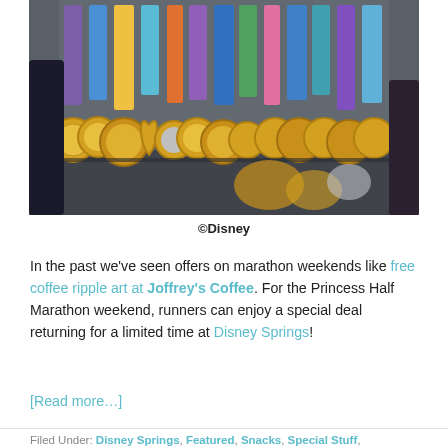[Figure (photo): A row of Disney race medals with colorful ribbons displayed on a dark surface, showing various gold medals from Disney running events including princess-themed and character medals.]
©Disney
In the past we've seen offers on marathon weekends like free coffee ripple art at Joffrey's Coffee. For the Princess Half Marathon weekend, runners can enjoy a special deal returning for a limited time at Disney Springs!
[Read more…]
Filed Under: Disney Springs, Featured, Snacks, Special Stuff, Walt Disney World
Tagged With: 10K, 2020 disney princess half marathon, 2020 Disney Princess Half Marathon Weekend, 2020 rundisney, 5K, Disney, Disneymarathon, Disney Princess Half ...